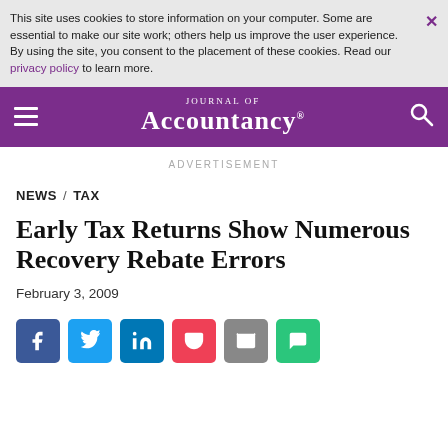This site uses cookies to store information on your computer. Some are essential to make our site work; others help us improve the user experience. By using the site, you consent to the placement of these cookies. Read our privacy policy to learn more.
JOURNAL OF ACCOUNTANCY®
ADVERTISEMENT
NEWS / TAX
Early Tax Returns Show Numerous Recovery Rebate Errors
February 3, 2009
[Figure (other): Social sharing buttons: Facebook, Twitter, LinkedIn, Pocket, Email, SMS]